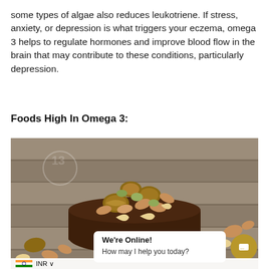some types of algae also reduces leukotriene. If stress, anxiety, or depression is what triggers your eczema, omega 3 helps to regulate hormones and improve blood flow in the brain that may contribute to these conditions, particularly depression.
Foods High In Omega 3:
[Figure (photo): A bowl of mixed nuts including walnuts, cashews, almonds, and pistachios on a wooden surface, with nuts scattered around the bowl.]